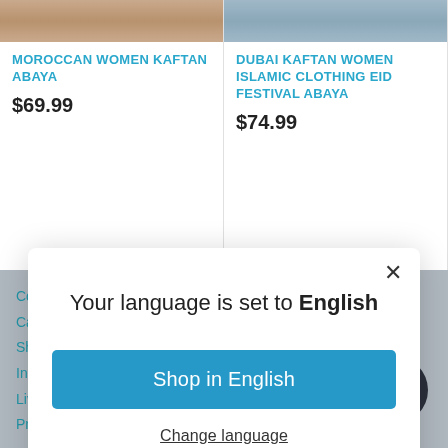[Figure (screenshot): Product card: Moroccan Women Kaftan Abaya with partial clothing image at top]
MOROCCAN WOMEN KAFTAN ABAYA
$69.99
[Figure (screenshot): Product card: Dubai Kaftan Women Islamic Clothing Eid Festival Abaya with partial clothing image at top]
DUBAI KAFTAN WOMEN ISLAMIC CLOTHING EID FESTIVAL ABAYA
$74.99
Your language is set to English
Shop in English
Change language
Contact Us
Cancellations or Returns
Shipping & Handling
International Shipping
Live Chat
Privacy Policy